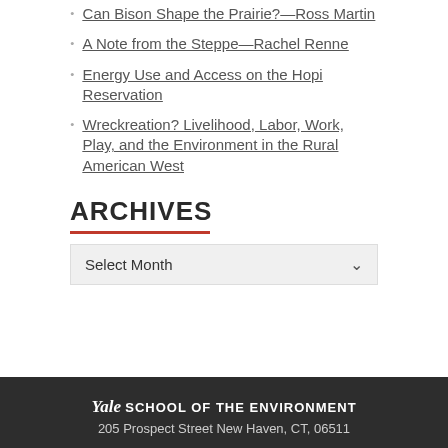Can Bison Shape the Prairie?—Ross Martin
A Note from the Steppe—Rachel Renne
Energy Use and Access on the Hopi Reservation
Wreckreation? Livelihood, Labor, Work, Play, and the Environment in the Rural American West
ARCHIVES
Select Month
Yale School of the Environment
205 Prospect Street New Haven, CT, 06511